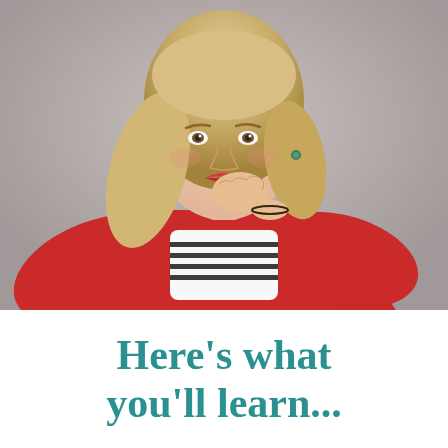[Figure (photo): A smiling blonde woman wearing a red blazer over a black-and-white striped top, resting her chin on her fist, posed against a grey studio background.]
Here’s what you’ll learn...